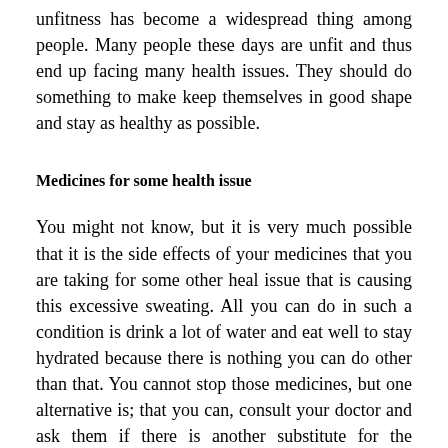unfitness has become a widespread thing among people. Many people these days are unfit and thus end up facing many health issues. They should do something to make keep themselves in good shape and stay as healthy as possible.
Medicines for some health issue
You might not know, but it is very much possible that it is the side effects of your medicines that you are taking for some other heal issue that is causing this excessive sweating. All you can do in such a condition is drink a lot of water and eat well to stay hydrated because there is nothing you can do other than that. You cannot stop those medicines, but one alternative is; that you can, consult your doctor and ask them if there is another substitute for the medicine, which has no such side effects. If yes, then that great, and you can switch to the other medicine, but